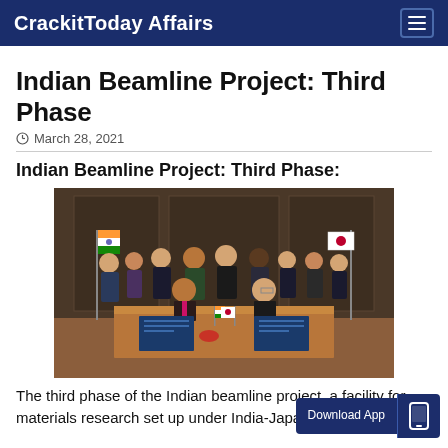CrackitToday Affairs
Indian Beamline Project: Third Phase
March 28, 2021
Indian Beamline Project: Third Phase:
[Figure (photo): Group photo of Indian and Japanese officials seated and standing in front of Indian and Japanese flags, with two officials seated at a table signing documents.]
The third phase of the Indian beamline project, a facility for materials research set up under India-Japan